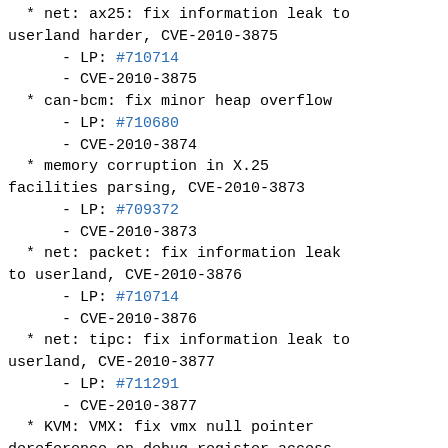* net: ax25: fix information leak to userland harder, CVE-2010-3875
    - LP: #710714
    - CVE-2010-3875
* can-bcm: fix minor heap overflow
    - LP: #710680
    - CVE-2010-3874
* memory corruption in X.25 facilities parsing, CVE-2010-3873
    - LP: #709372
    - CVE-2010-3873
* net: packet: fix information leak to userland, CVE-2010-3876
    - LP: #710714
    - CVE-2010-3876
* net: tipc: fix information leak to userland, CVE-2010-3877
    - LP: #711291
    - CVE-2010-3877
* KVM: VMX: fix vmx null pointer dereference on debug register access, CVE-2010-0435
    - LP: #712615
    - CVE-2010-0435
* gdth: integer overflow in ioctl, CVE-2010-4157